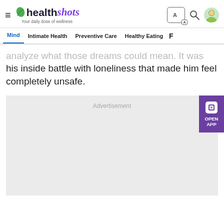healthshots — Your daily dose of wellness
Mind | Intimate Health | Preventive Care | Healthy Eating | F
analyze what those dreams could mean. It was his inside battle with loneliness that made him feel completely unsafe.
[Figure (other): Advertisement placeholder block (grey rectangle)]